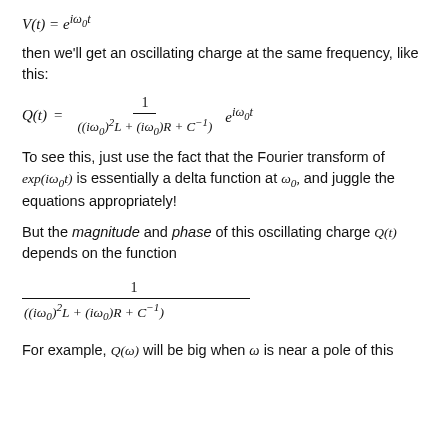then we'll get an oscillating charge at the same frequency, like this:
To see this, just use the fact that the Fourier transform of exp(iω₀t) is essentially a delta function at ω₀, and juggle the equations appropriately!
But the magnitude and phase of this oscillating charge Q(t) depends on the function
For example, Q(ω) will be big when ω is near a pole of this